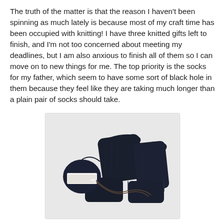The truth of the matter is that the reason I haven't been spinning as much lately is because most of my craft time has been occupied with knitting! I have three knitted gifts left to finish, and I'm not too concerned about meeting my deadlines, but I am also anxious to finish all of them so I can move on to new things for me. The top priority is the socks for my father, which seem to have some sort of black hole in them because they feel like they are taking much longer than a plain pair of socks should take.
[Figure (photo): Photo of two dark navy/black knitted socks in progress alongside a ball of dark yarn with a white label. The socks are partially finished with knitting needles still attached via a circular needle cord.]